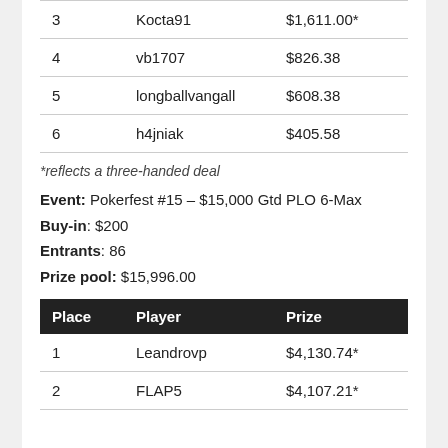| 3 | Kocta91 | $1,611.00* |
| 4 | vb1707 | $826.38 |
| 5 | longballvangall | $608.38 |
| 6 | h4jniak | $405.58 |
*reflects a three-handed deal
Event: Pokerfest #15 – $15,000 Gtd PLO 6-Max
Buy-in: $200
Entrants: 86
Prize pool: $15,996.00
| Place | Player | Prize |
| --- | --- | --- |
| 1 | Leandrovp | $4,130.74* |
| 2 | FLAP5 | $4,107.21* |